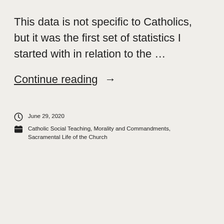This data is not specific to Catholics, but it was the first set of statistics I started with in relation to the …
Continue reading →
June 29, 2020
Catholic Social Teaching, Morality and Commandments, Sacramental Life of the Church